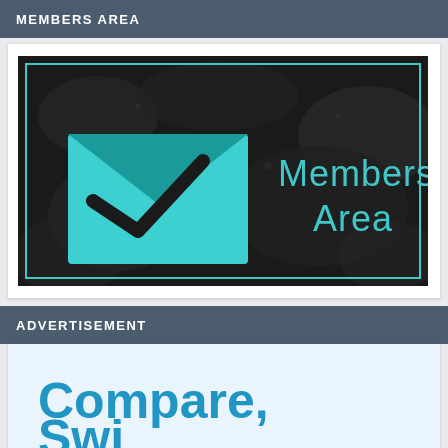MEMBERS AREA
[Figure (illustration): Members Area banner image: dark rocky/textured background with a cyan envelope/checkmark icon on the left and 'Members Area' text in cyan on the right, bordered by a thin cyan rectangle outline.]
ADVERTISEMENT
[Figure (illustration): Advertisement banner with light blue background showing large cyan bold text reading 'Compare,' and partially visible text below it.]